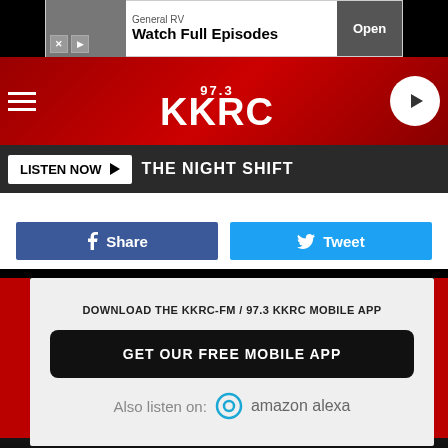[Figure (screenshot): Advertisement banner: General RV - Watch Full Episodes with Open button]
[Figure (logo): 97.3 KKRC radio station header with hamburger menu and play button]
LISTEN NOW ▶  THE NIGHT SHIFT
f  Share
Tweet
DOWNLOAD THE KKRC-FM / 97.3 KKRC MOBILE APP
GET OUR FREE MOBILE APP
Also listen on:  amazon alexa
[Figure (photo): Bottom image strip showing people in dark setting]